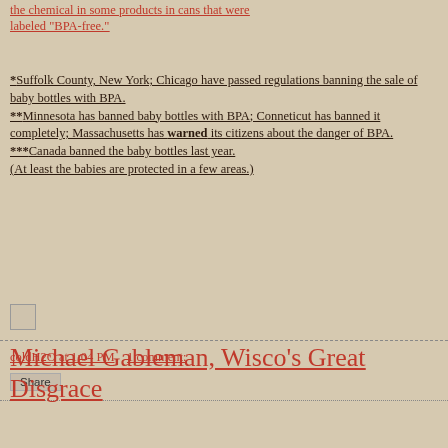the chemical in some products in cans that were labeled "BPA-free."
*Suffolk County, New York; Chicago have passed regulations banning the sale of baby bottles with BPA. **Minnesota has banned baby bottles with BPA; Conneticut has banned it completely; Massachusetts has warned its citizens about the danger of BPA. ***Canada banned the baby bottles last year. (At least the babies are protected in a few areas.)
coldH2O at 1:04 PM    1 comment:
Share
Michael Gableman, Wisco's Great Disgrace